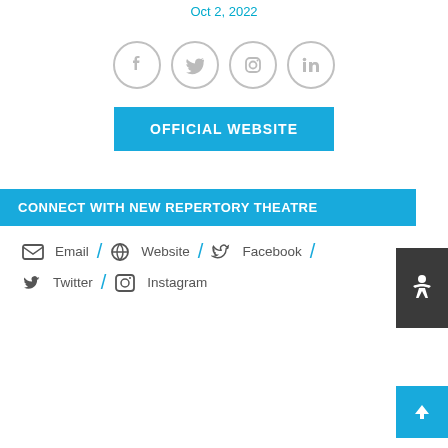Oct 2, 2022
[Figure (illustration): Row of four circular social media icons (Facebook, Twitter, Instagram, LinkedIn) in gray outline style]
OFFICIAL WEBSITE
CONNECT WITH NEW REPERTORY THEATRE
Email / Website / Facebook / Twitter / Instagram